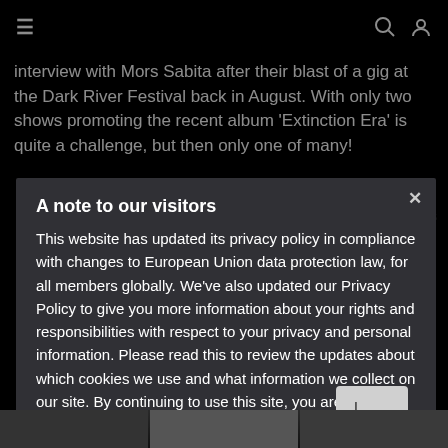≡  🔍  👤
interview with Mors Sabita after their blast of a gig at the Dark River Festival back in August. With only two shows promoting the recent album 'Extinction Era' is quite a challenge, but then only one of many!
A note to our visitors
This website has updated its privacy policy in compliance with changes to European Union data protection law, for all members globally. We've also updated our Privacy Policy to give you more information about your rights and responsibilities with respect to your privacy and personal information. Please read this to review the updates about which cookies we use and what information we collect on our site. By continuing to use this site, you are agreeing to our updated privacy policy.
https://obscuro.eu/privacy-policy-2/